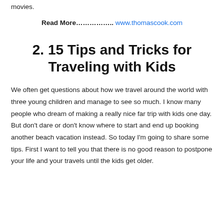movies.
Read More.............. www.thomascook.com
2. 15 Tips and Tricks for Traveling with Kids
We often get questions about how we travel around the world with three young children and manage to see so much. I know many people who dream of making a really nice far trip with kids one day. But don't dare or don't know where to start and end up booking another beach vacation instead. So today I'm going to share some tips. First I want to tell you that there is no good reason to postpone your life and your travels until the kids get older.